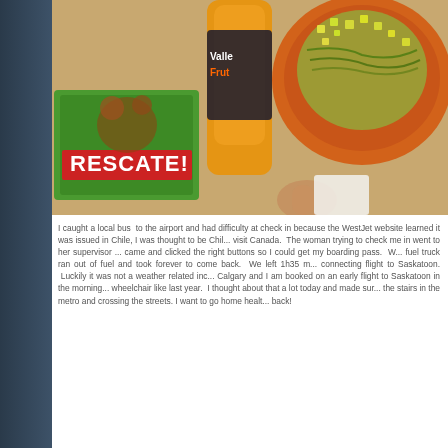[Figure (photo): A photo taken from above showing a food tray on a table. Visible items include an orange plate with food topped with diced vegetables, a bottle of orange juice with a label, a green cartoon character placemat or card reading 'RESCATE!', and other items on a tan/beige surface.]
I caught a local bus to the airport and had difficulty at check in because the WestJet website learned it was issued in Chile, I was thought to be Chilean and visit Canada. The woman trying to check me in went to her supervisor who came and clicked the right buttons so I could get my boarding pass. W... fuel truck ran out of fuel and took forever to come back. We left 1h35 m... connecting flight to Saskatoon. Luckily it was not a weather related inc... Calgary and I am booked on an early flight to Saskatoon in the morning... wheelchair like last year. I thought about that a lot today and made sur... the stairs in the metro and crossing the streets. I want to go home healt... back!